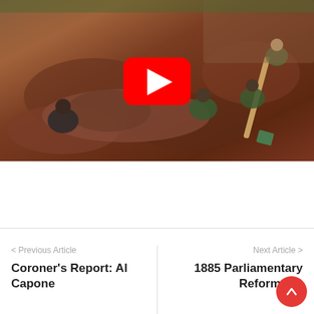[Figure (photo): Aerial/overhead view of a paleontological or archaeological excavation site. Workers in green military-style uniforms and dark clothing are crouching around what appears to be large fossilized bones or remains embedded in reddish-brown soil. A shovel is visible on the right side. A YouTube play button overlay is centered on the image.]
< Previous Article
Coroner's Report: Al Capone
Next Article >
1885 Parliamentary Reform Act